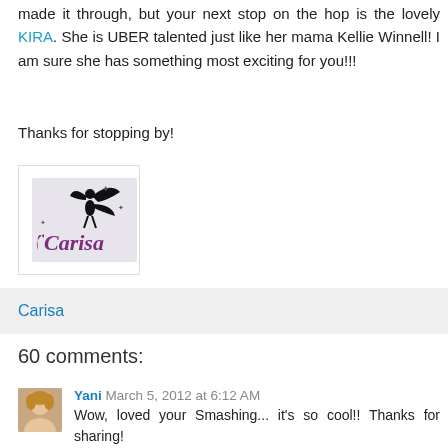made it through, but your next stop on the hop is the lovely KIRA. She is UBER talented just like her mama Kellie Winnell! I am sure she has something most exciting for you!!!
Thanks for stopping by!
[Figure (logo): Carisa signature logo with fairy silhouette and stylized 'Carisa' text in purple with stars]
Carisa
60 comments:
Yani  March 5, 2012 at 6:12 AM
Wow, loved your Smashing... it's so cool!! Thanks for sharing!